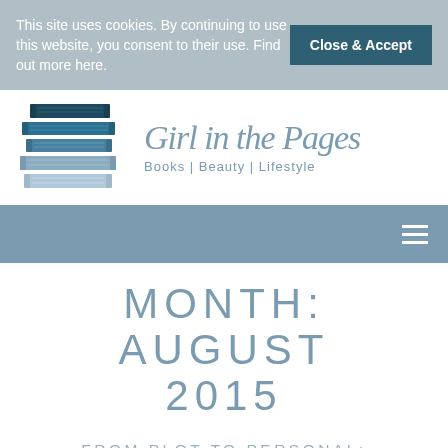This site uses cookies. By continuing to use this website, you consent to their use. Find out more here.
Close & Accept
[Figure (logo): Girl in the Pages blog logo: stack of books illustration in navy/blue/gray tones alongside the blog name 'Girl in the Pages' in cursive script with tagline 'Books | Beauty | Lifestyle']
MONTH: AUGUST 2015
FROM PLOT TO PERSONAL: HELLO, GOODBYE, AND EVERYTHING IN BETWEEN BY JENNIFER E SMITH